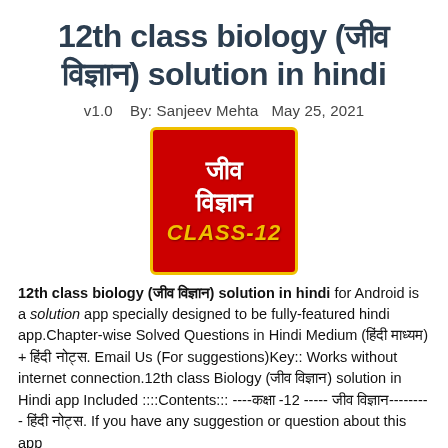12th class biology (जीव विज्ञान) solution in hindi
v1.0   By: Sanjeev Mehta   May 25, 2021
[Figure (illustration): App icon with red background and yellow border showing Hindi text 'जीव विज्ञान' in white and 'CLASS-12' in yellow italic text]
12th class biology (जीव विज्ञान) solution in hindi for Android is a solution app specially designed to be fully-featured hindi app.Chapter-wise Solved Questions in Hindi Medium (हिंदी माध्यम) + हिंदी नोट्स. Email Us (For suggestions)Key:: Works without internet connection.12th class Biology (जीव विज्ञान) solution in Hindi app Included ::::Contents::: ----कक्षा -12 ----- जीव विज्ञान---------- हिंदी नोट्स. If you have any suggestion or question about this app